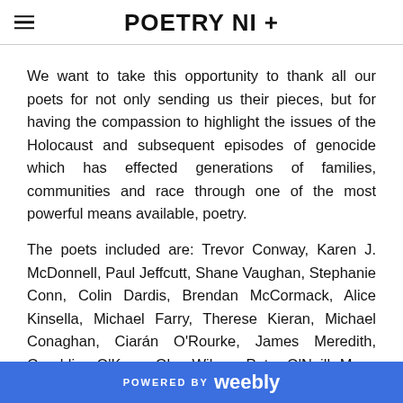POETRY NI +
We want to take this opportunity to thank all our poets for not only sending us their pieces, but for having the compassion to highlight the issues of the Holocaust and subsequent episodes of genocide which has effected generations of families, communities and race through one of the most powerful means available, poetry.
The poets included are: Trevor Conway, Karen J. McDonnell, Paul Jeffcutt, Shane Vaughan, Stephanie Conn, Colin Dardis, Brendan McCormack, Alice Kinsella, Michael Farry, Therese Kieran, Michael Conaghan, Ciarán O'Rourke, James Meredith, Geraldine O'Kane, Glen Wilson, Peter O'Neill, Moya Roddy, Emma McKervey,
POWERED BY weebly